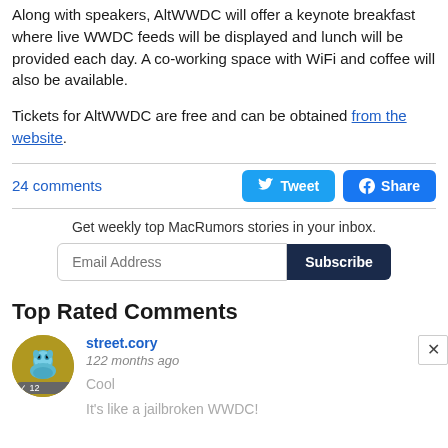Along with speakers, AltWWDC will offer a keynote breakfast where live WWDC feeds will be displayed and lunch will be provided each day. A co-working space with WiFi and coffee will also be available.
Tickets for AltWWDC are free and can be obtained from the website.
24 comments
[Figure (other): Tweet and Share social buttons]
Get weekly top MacRumors stories in your inbox.
[Figure (other): Email subscription form with Email Address input and Subscribe button]
Top Rated Comments
[Figure (other): User avatar for street.cory]
street.cory
122 months ago
Cool
It's like a jailbroken WWDC!